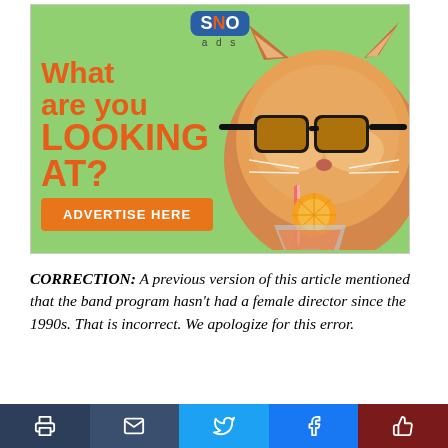[Figure (illustration): SNO ads advertisement banner with a cat wearing sunglasses drinking a cocktail, with text 'What are you LOOKING AT?' and an orange 'ADVERTISE HERE' button on a green background]
CORRECTION: A previous version of this article mentioned that the band program hasn't had a female director since the 1990s. That is incorrect. We apologize for this error.
The band program hasn't had a female band director
[Figure (infographic): Social share bar with print, email, Twitter, Facebook, and kudos buttons]